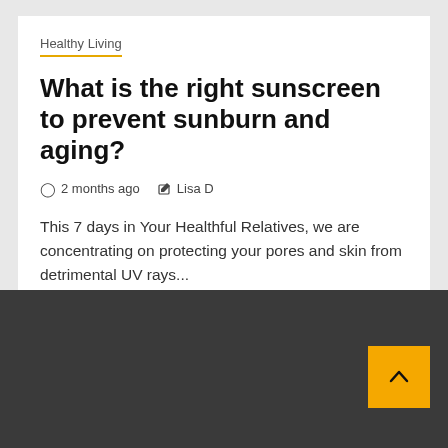Healthy Living
What is the right sunscreen to prevent sunburn and aging?
2 months ago   Lisa D
This 7 days in Your Healthful Relatives, we are concentrating on protecting your pores and skin from detrimental UV rays...
[Figure (other): Dark gray footer/navigation bar with a yellow scroll-to-top button in the lower right corner containing an upward chevron arrow]